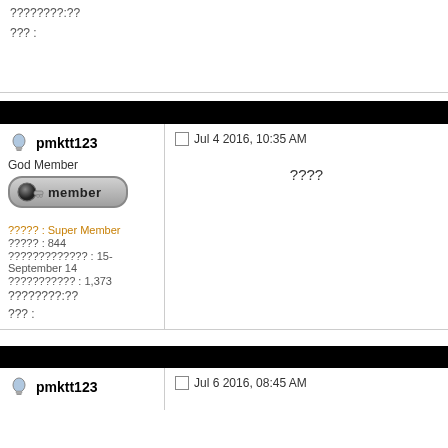????????:??
??? :
pmktt123
Jul 4 2016, 10:35 AM
????
God Member
[Figure (other): Member badge with key icon and text 'member']
????? : Super Member
????? : 844
????????????? : 15-September 14
??????????? : 1,373
????????:??
??? :
pmktt123
Jul 6 2016, 08:45 AM